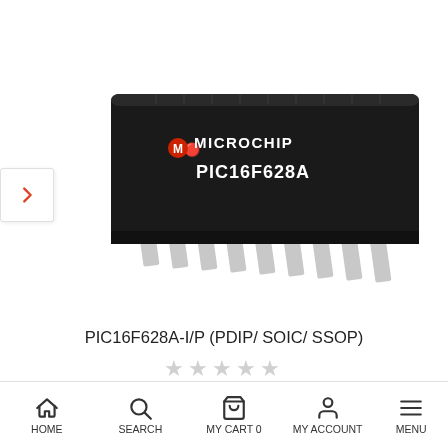[Figure (photo): Microchip PIC16F628A DIP microcontroller IC chip, black rectangular package with silver pins, labeled 'Microchip PIC16F628A' on top]
PIC16F628A-I/P (PDIP/ SOIC/ SSOP)
★★★★★ (empty stars rating)
MYR19.38
OUT OF STOCK
HOME  SEARCH  MY CART 0  MY ACCOUNT  MENU